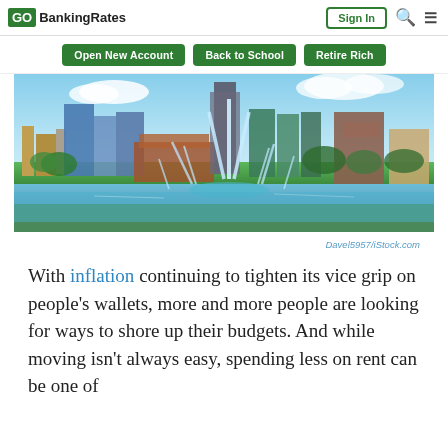GO BankingRates | Sign In
Open New Account | Back to School | Retire Rich
[Figure (photo): City skyline with fountains in foreground, green park and blue sky, Omaha Nebraska]
Davel5957/iStock.com
With inflation continuing to tighten its vice grip on people's wallets, more and more people are looking for ways to shore up their budgets. And while moving isn't always easy, spending less on rent can be one of